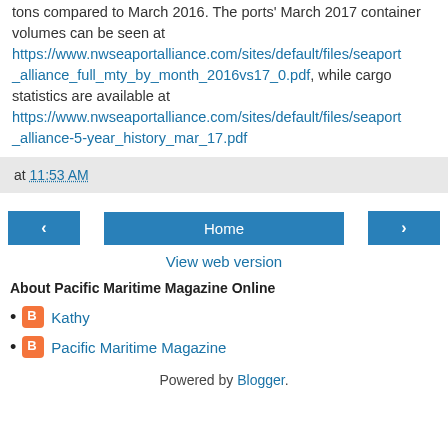tons compared to March 2016. The ports' March 2017 container volumes can be seen at https://www.nwseaportalliance.com/sites/default/files/seaport_alliance_full_mty_by_month_2016vs17_0.pdf, while cargo statistics are available at https://www.nwseaportalliance.com/sites/default/files/seaport_alliance-5-year_history_mar_17.pdf
at 11:53 AM
‹   Home   ›
View web version
About Pacific Maritime Magazine Online
Kathy
Pacific Maritime Magazine
Powered by Blogger.